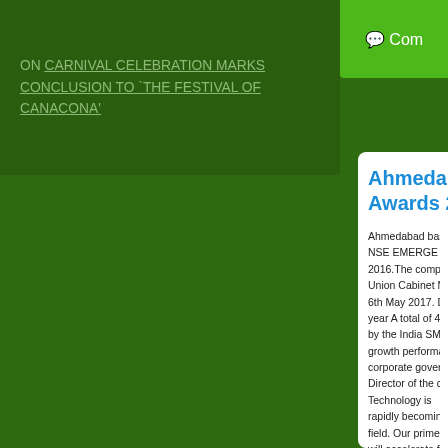ON CARNIVAL CELEBRATION MARKS CONCLUSION TO `THE FESTIVAL OF CANACONA'
Ahmedabad Awards 20...
Ahmedabad based NSE EMERGE pla 2016.The company Union Cabinet Min 6th May 2017. DE year A total of 41,8 by the India SME F growth performance corporate governa Director of the com Technology is rapidly becoming a field. Our prime foo will accelerate futu of Domestic Counc